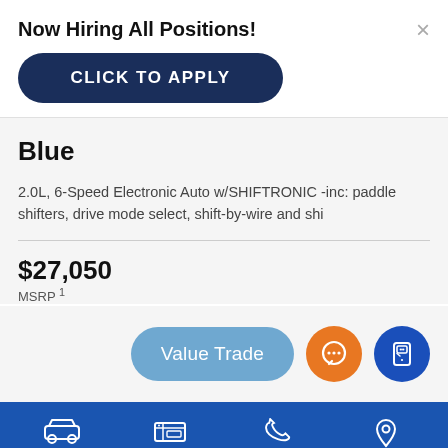Now Hiring All Positions!
CLICK TO APPLY
Blue
2.0L, 6-Speed Electronic Auto w/SHIFTRONIC -inc: paddle shifters, drive mode select, shift-by-wire and shi
$27,050
MSRP 1
[Figure (screenshot): Value Trade button (blue pill), orange chat bubble icon circle, blue mobile chat icon circle]
[Figure (infographic): Bottom navigation bar with icons and labels: New (car icon), Used (tag icon), Call (phone icon), Directions (location pin icon)]